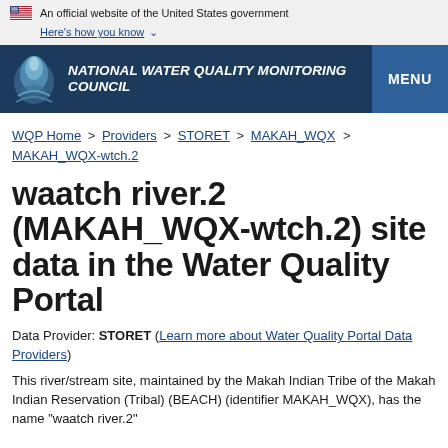An official website of the United States government Here's how you know
NATIONAL WATER QUALITY MONITORING COUNCIL
WQP Home > Providers > STORET > MAKAH_WQX > MAKAH_WQX-wtch.2
waatch river.2 (MAKAH_WQX-wtch.2) site data in the Water Quality Portal
Data Provider: STORET (Learn more about Water Quality Portal Data Providers)
This river/stream site, maintained by the Makah Indian Tribe of the Makah Indian Reservation (Tribal) (BEACH) (identifier MAKAH_WQX), has the name "waatch river.2"